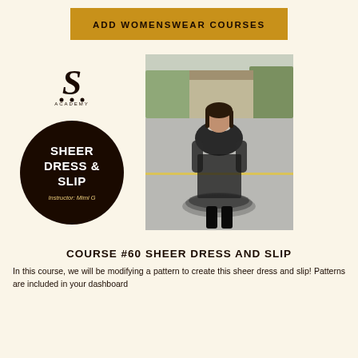ADD WOMENSWEAR COURSES
[Figure (logo): Stylized S with three dots below and 'ACADEMY' text — brand logo]
[Figure (illustration): Dark circle badge with text 'SHEER DRESS & SLIP' and 'Instructor: Mimi G']
[Figure (photo): Woman wearing a black sheer dress with ruffled hem and knee-high boots, standing outdoors on a driveway]
COURSE #60 SHEER DRESS AND SLIP
In this course, we will be modifying a pattern to create this sheer dress and slip! Patterns are included in your dashboard